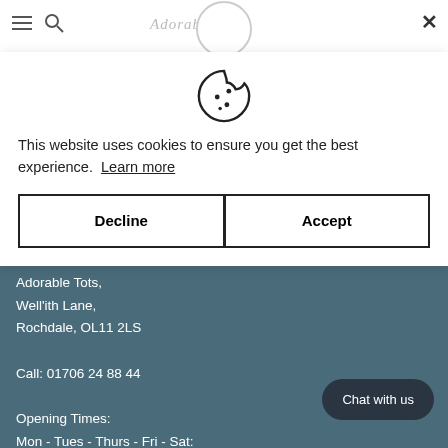[Figure (screenshot): Website navigation bar with hamburger menu, search icon, circular logo placeholder, italic brand name 'Adorable Tots', and close (X) button on the right]
[Figure (illustration): Cookie icon (circle with bite taken out and chocolate chip dots) centered above cookie consent text]
This website uses cookies to ensure you get the best experience.  Learn more
Decline
Accept
COME VISIT US:
Adorable Tots,
Well'ith Lane,
Rochdale, OL11 2LS

Call: 01706 24 88 44

Opening Times:
Mon - Tues - Thurs - Fri - Sat:
Chat with us